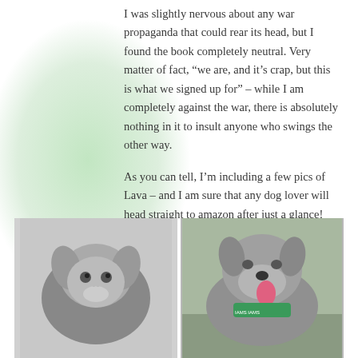I was slightly nervous about any war propaganda that could rear its head, but I found the book completely neutral. Very matter of fact, “we are, and it’s crap, but this is what we signed up for” – while I am completely against the war, there is absolutely nothing in it to insult anyone who swings the other way.
As you can tell, I’m including a few pics of Lava – and I am sure that any dog lover will head straight to amazon after just a glance!
[Figure (photo): Black and white photo of a small puppy (Lava) looking at the camera]
[Figure (photo): Color photo of a grown dog (Lava) wearing a green bandana, tongue out, outdoors]